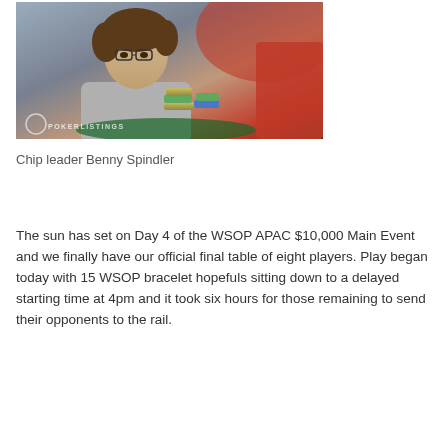[Figure (photo): Young man with brown hair and glasses wearing a grey hoodie seated at a poker table with poker chips stacked in front of him. A PokerListings watermark is visible in the lower left corner.]
Chip leader Benny Spindler
The sun has set on Day 4 of the WSOP APAC $10,000 Main Event and we finally have our official final table of eight players. Play began today with 15 WSOP bracelet hopefuls sitting down to a delayed starting time at 4pm and it took six hours for those remaining to send their opponents to the rail.